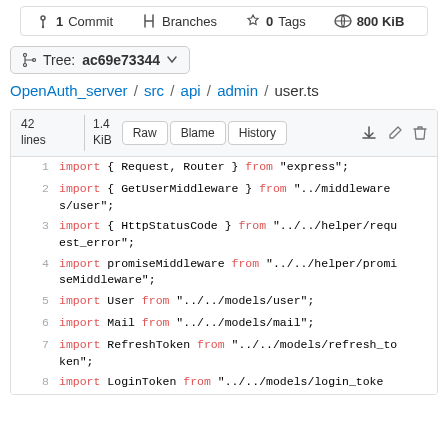1 Commit  Branches  0 Tags  800 KiB
Tree: ac69e73344
OpenAuth_server / src / api / admin / user.ts
[Figure (screenshot): Code viewer showing 42 lines, 1.4 KiB with Raw, Blame, History buttons and TypeScript import statements for a user.ts file]
1  import { Request, Router } from "express";
2  import { GetUserMiddleware } from "../middlewares/user";
3  import { HttpStatusCode } from "../../helper/request_error";
4  import promiseMiddleware from "../../helper/promiseMiddleware";
5  import User from "../../models/user";
6  import Mail from "../../models/mail";
7  import RefreshToken from "../../models/refresh_token";
8  import LoginToken from "../../models/login_toke